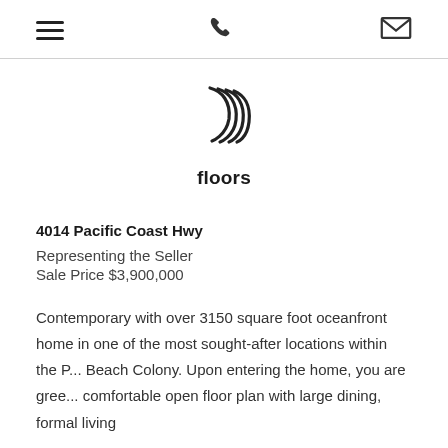Navigation header with hamburger menu, phone icon, and mail icon
[Figure (logo): Stylized logo of overlapping concentric arcs/rings forming a coil shape, above the word 'floors']
floors
4014 Pacific Coast Hwy
Representing the Seller
Sale Price $3,900,000
Contemporary with over 3150 square foot oceanfront home in one of the most sought-after locations within the P... Beach Colony. Upon entering the home, you are gree... comfortable open floor plan with large dining, formal living